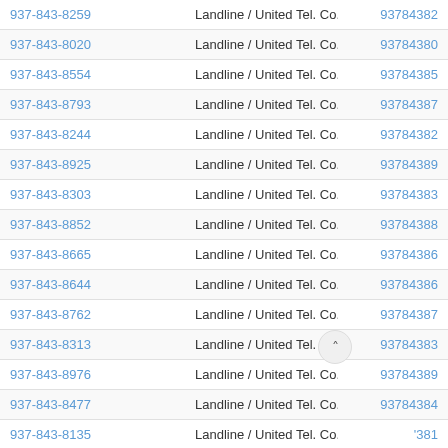| Phone | Type | Number |
| --- | --- | --- |
| 937-843-8259 | Landline / United Tel. Co. Of Ohio - Centurylink | 93784382 |
| 937-843-8020 | Landline / United Tel. Co. Of Ohio - Centurylink | 93784380 |
| 937-843-8554 | Landline / United Tel. Co. Of Ohio - Centurylink | 93784385 |
| 937-843-8793 | Landline / United Tel. Co. Of Ohio - Centurylink | 93784387 |
| 937-843-8244 | Landline / United Tel. Co. Of Ohio - Centurylink | 93784382 |
| 937-843-8925 | Landline / United Tel. Co. Of Ohio - Centurylink | 93784389 |
| 937-843-8303 | Landline / United Tel. Co. Of Ohio - Centurylink | 93784383 |
| 937-843-8852 | Landline / United Tel. Co. Of Ohio - Centurylink | 93784388 |
| 937-843-8665 | Landline / United Tel. Co. Of Ohio - Centurylink | 93784386 |
| 937-843-8644 | Landline / United Tel. Co. Of Ohio - Centurylink | 93784386 |
| 937-843-8762 | Landline / United Tel. Co. Of Ohio - Centurylink | 93784387 |
| 937-843-8313 | Landline / United Tel. Co. Of Ohio - Centurylink | 93784383 |
| 937-843-8976 | Landline / United Tel. Co. Of Ohio - Centurylink | 93784389 |
| 937-843-8477 | Landline / United Tel. Co. Of Ohio - Centurylink | 93784384 |
| 937-843-8135 | Landline / United Tel. Co. Of Ohio - Centurylink | '381 |
| 937-843-8946 | Landline / United Tel. Co. Of Ohio - Centurylink | 89 |
| 937-843-8209 | Landline / United Tel. Co. Of Ohio - Centurylink | 93784382 |
| 937-843-8281 | Landline / United Tel. Co. Of Ohio - Centurylink | 93784382 |